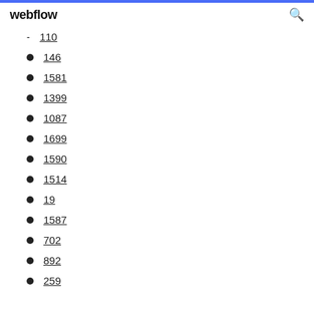webflow
110
146
1581
1399
1087
1699
1590
1514
19
1587
702
892
259